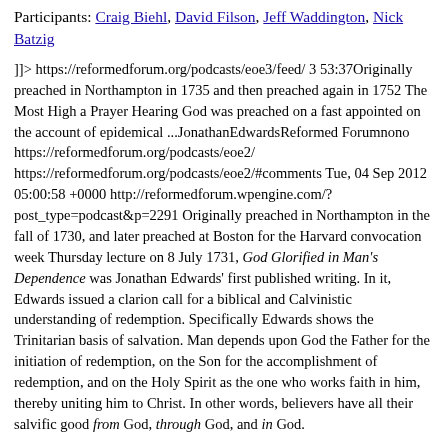Participants: Craig Biehl, David Filson, Jeff Waddington, Nick Batzig
]]> https://reformedforum.org/podcasts/eoe3/feed/ 3 53:37Originally preached in Northampton in 1735 and then preached again in 1752 The Most High a Prayer Hearing God was preached on a fast appointed on the account of epidemical ...JonathanEdwardsReformed Forumnono https://reformedforum.org/podcasts/eoe2/ https://reformedforum.org/podcasts/eoe2/#comments Tue, 04 Sep 2012 05:00:58 +0000 http://reformedforum.wpengine.com/?post_type=podcast&p=2291 Originally preached in Northampton in the fall of 1730, and later preached at Boston for the Harvard convocation week Thursday lecture on 8 July 1731, God Glorified in Man's Dependence was Jonathan Edwards' first published writing. In it, Edwards issued a clarion call for a biblical and Calvinistic understanding of redemption. Specifically Edwards shows the Trinitarian basis of salvation. Man depends upon God the Father for the initiation of redemption, on the Son for the accomplishment of redemption, and on the Holy Spirit as the one who works faith in him, thereby uniting him to Christ. In other words, believers have all their salvific good from God, through God, and in God.